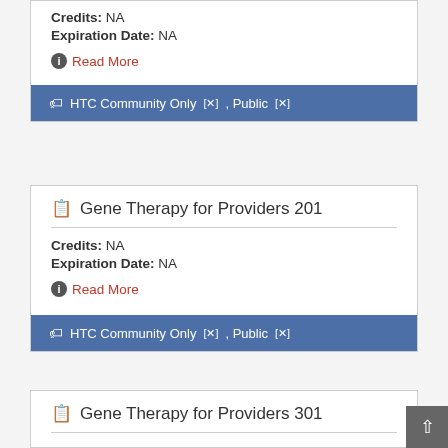Credits: NA
Expiration Date: NA
Read More
HTC Community Only[*], Public[*]
Gene Therapy for Providers 201
Credits: NA
Expiration Date: NA
Read More
HTC Community Only[*], Public[*]
Gene Therapy for Providers 301